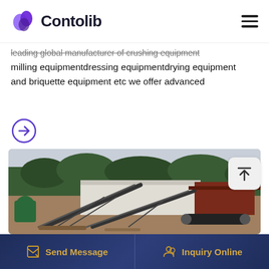Contolib
leading global manufacturer of crushing equipment milling equipmentdressing equipmentdrying equipment and briquette equipment etc we offer advanced
[Figure (other): Circular arrow link/button (purple outline circle with right-arrow inside)]
[Figure (photo): Industrial crushing/milling equipment site with conveyor belts, machinery, and a forested hillside in the background]
Send Message   Inquiry Online